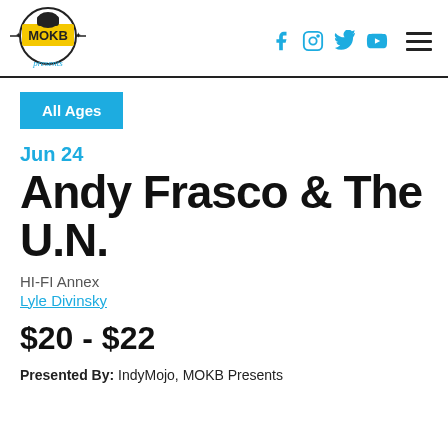[Figure (logo): MOKB Presents logo — circular badge with fist and text 'MOKB presents']
[Figure (other): Social media icons (Facebook, Instagram, Twitter, YouTube) and hamburger menu icon]
All Ages
Jun 24
Andy Frasco & The U.N.
HI-FI Annex
Lyle Divinsky
$20 - $22
Presented By: IndyMojo, MOKB Presents